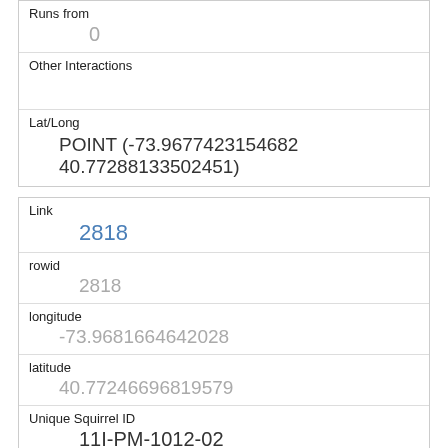| Runs from | 0 |
| Other Interactions |  |
| Lat/Long | POINT (-73.9677423154682 40.77288133502451) |
| Link | 2818 |
| rowid | 2818 |
| longitude | -73.9681664642028 |
| latitude | 40.77246696819579 |
| Unique Squirrel ID | 11I-PM-1012-02 |
| Hectare | 11I |
| Shift | PM |